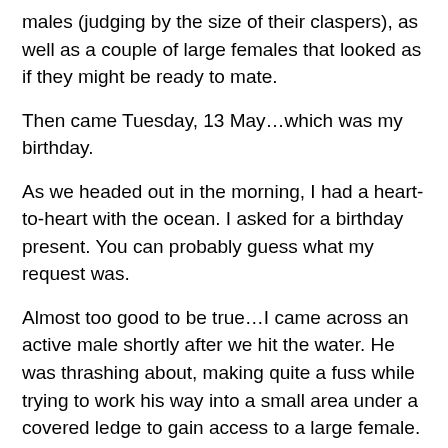males (judging by the size of their claspers), as well as a couple of large females that looked as if they might be ready to mate.
Then came Tuesday, 13 May…which was my birthday.
As we headed out in the morning, I had a heart-to-heart with the ocean. I asked for a birthday present. You can probably guess what my request was.
Almost too good to be true…I came across an active male shortly after we hit the water. He was thrashing about, making quite a fuss while trying to work his way into a small area under a covered ledge to gain access to a large female.
Both Fukui-san and I thought “This is it!”
We high-fived and waited.
For whatever reason, the male stopped what he was doing after a few minutes, went into reverse gear, backed out of the